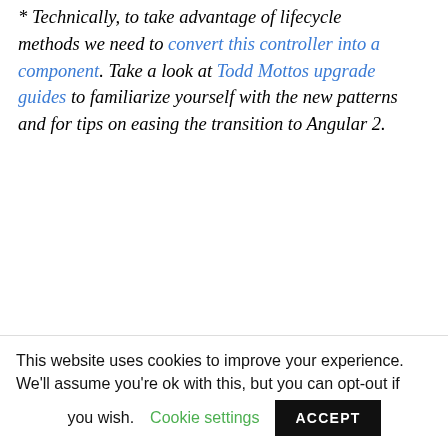* Technically, to take advantage of lifecycle methods we need to convert this controller into a component. Take a look at Todd Mottos upgrade guides to familiarize yourself with the new patterns and for tips on easing the transition to Angular 2.
Finally, vm = this; also known as "controller as" syntax has been eliminated. Instance and prototype properties and methods are accessible on this so we don't need that workaround anymore. This is a mixed blessing because vm helped us avoid
This website uses cookies to improve your experience. We'll assume you're ok with this, but you can opt-out if you wish. Cookie settings ACCEPT